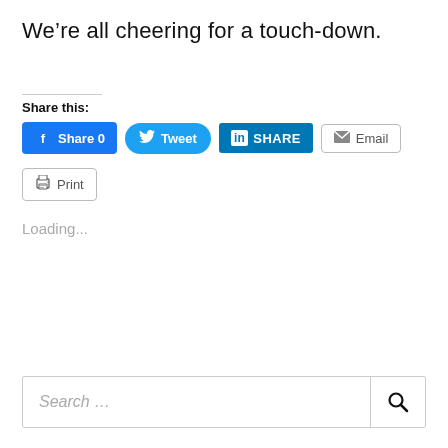We’re all cheering for a touch-down.
Share this:
[Figure (screenshot): Social share buttons: Facebook Share 0, Tweet, LinkedIn SHARE, Email, Print]
Loading...
[Figure (screenshot): Search bar with placeholder text 'Search ...' and a magnifying glass search icon on the right]